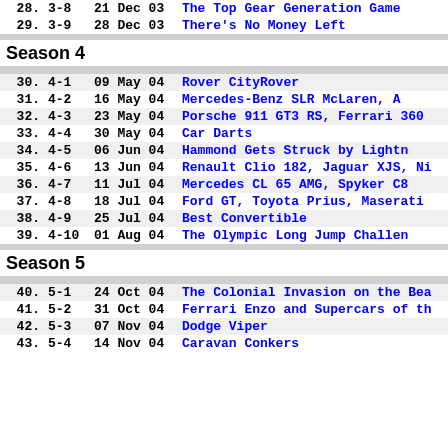| # | Code | Date | Title |
| --- | --- | --- | --- |
| 28. | 3-8 | 21 Dec 03 | The Top Gear Generation Game |
| 29. | 3-9 | 28 Dec 03 | There's No Money Left |
Season 4
| # | Code | Date | Title |
| --- | --- | --- | --- |
| 30. | 4-1 | 09 May 04 | Rover CityRover |
| 31. | 4-2 | 16 May 04 | Mercedes-Benz SLR McLaren, A... |
| 32. | 4-3 | 23 May 04 | Porsche 911 GT3 RS, Ferrari 360... |
| 33. | 4-4 | 30 May 04 | Car Darts |
| 34. | 4-5 | 06 Jun 04 | Hammond Gets Struck by Lightn... |
| 35. | 4-6 | 13 Jun 04 | Renault Clio 182, Jaguar XJS, Ni... |
| 36. | 4-7 | 11 Jul 04 | Mercedes CL 65 AMG, Spyker C8... |
| 37. | 4-8 | 18 Jul 04 | Ford GT, Toyota Prius, Maserati ... |
| 38. | 4-9 | 25 Jul 04 | Best Convertible |
| 39. | 4-10 | 01 Aug 04 | The Olympic Long Jump Challen... |
Season 5
| # | Code | Date | Title |
| --- | --- | --- | --- |
| 40. | 5-1 | 24 Oct 04 | The Colonial Invasion on the Bea... |
| 41. | 5-2 | 31 Oct 04 | Ferrari Enzo and Supercars of th... |
| 42. | 5-3 | 07 Nov 04 | Dodge Viper |
| 43. | 5-4 | 14 Nov 04 | Caravan Conkers |